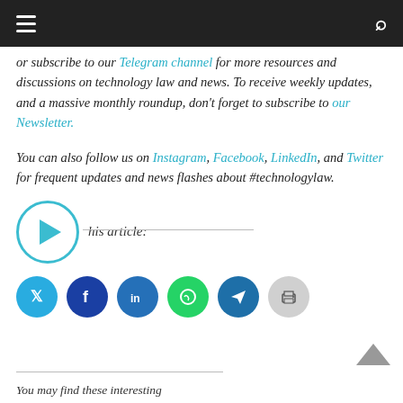or subscribe to our Telegram channel for more resources and discussions on technology law and news. To receive weekly updates, and a massive monthly roundup, don't forget to subscribe to our Newsletter.
You can also follow us on Instagram, Facebook, LinkedIn, and Twitter for frequent updates and news flashes about #technologylaw.
his article:
[Figure (illustration): Social media share buttons: Twitter (blue), Facebook (dark blue), LinkedIn (blue), WhatsApp (green), Telegram (blue), Print (gray)]
You may find these interesting